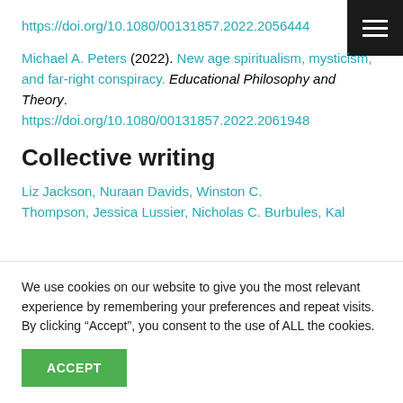https://doi.org/10.1080/00131857.2022.2056444
Michael A. Peters (2022). New age spiritualism, mysticism, and far-right conspiracy. Educational Philosophy and Theory. https://doi.org/10.1080/00131857.2022.2061948
Collective writing
Liz Jackson, Nuraan Davids, Winston C. Thompson, Jessica Lussier, Nicholas C. Burbules, Kal
We use cookies on our website to give you the most relevant experience by remembering your preferences and repeat visits. By clicking “Accept”, you consent to the use of ALL the cookies.
ACCEPT